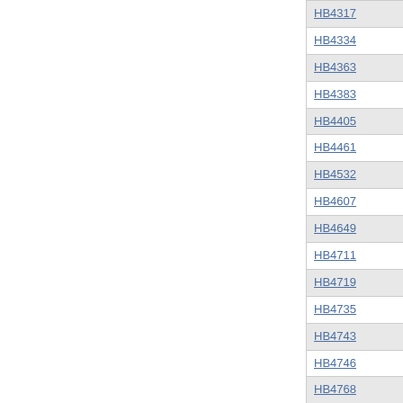| Bill | Sponsor | Description |
| --- | --- | --- |
| HB4317 | Mark H. Beaubien, Jr. | PEN CD-FIREFIGHTING CREDIT |
| HB4334 | David Reis | FINANCE-ADMIN CHARGEBACKS |
| HB4363 | Thomas Holbrook | WILDLFE PRESRVTION SCRATCH-OFF |
| HB4383 | Patricia R. Bellock | PARENTAGE ACT-MED INSURANCE |
| HB4405 | Ed Sullivan, Jr. | LOCGOV-IDOT LEASE-VACANT LAND |
| HB4461 | JoAnn D. Osmond | DCEO-NURSING EDUCATION |
| HB4532 | Brandon W. Phelps | CRIM CD-DISORDERLY CONDUCT |
| HB4607 | Susana A Mendoza | CRIM PRO-DNA ANALYSIS |
| HB4649 | Jack D. Franks | CRIM PRO-BAIL-VIOLENT CRIME |
| HB4711 | Linda Chapa LaVia | CRIM CD-DOG FIGHTING |
| HB4719 | Edward J. Acevedo | CONSUMER FRAUD-WORK-AT-HOME |
| HB4735 | Michael Tryon | PROP TX-RATE ADJUSTMENTS |
| HB4743 | Aaron Schock | MUNI CD-BLDG CD FINES |
| HB4746 | Kathleen A. Ryg | TOLL HWY-RTA SUBURB BUSES |
| HB4768 | John D'Amico | VEH CD-DRIVER LICENSE AGE 18 |
| HB4381 | Art Tay... | EMERGENCY OP PLAN... |